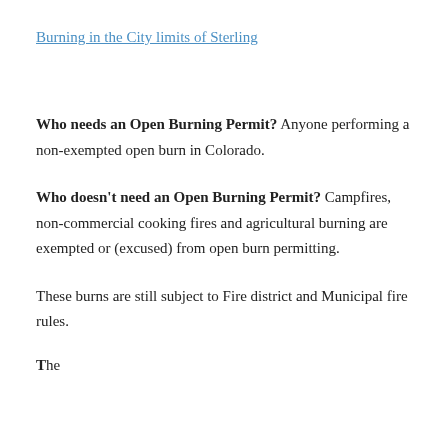Burning in the City limits of Sterling
Who needs an Open Burning Permit? Anyone performing a non-exempted open burn in Colorado.
Who doesn't need an Open Burning Permit? Campfires, non-commercial cooking fires and agricultural burning are exempted or (excused) from open burn permitting.
These burns are still subject to Fire district and Municipal fire rules.
The [truncated at page bottom]